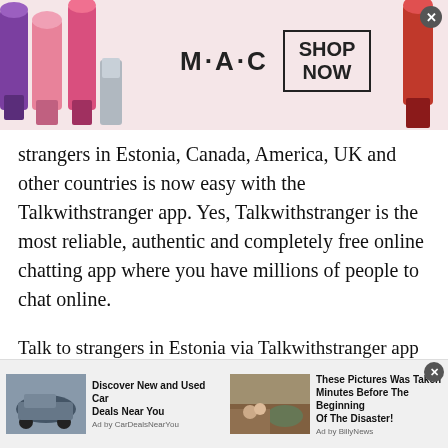[Figure (illustration): MAC cosmetics advertisement banner with lipsticks on left side, MAC logo text in center, SHOP NOW box on right, and a red lipstick on the far right. Close button top right.]
strangers in Estonia, Canada, America, UK and other countries is now easy with the Talkwithstranger app. Yes, Talkwithstranger is the most reliable, authentic and completely free online chatting app where you have millions of people to chat online.
Talk to strangers in Estonia via Talkwithstranger app
So, you may be thinking, would you only choose to talk to people of Estonia? Well, it's not the case. Talkwithstranger country specific chat rooms are
[Figure (illustration): Bottom advertisement bar with two ad items: left ad shows a car with 'Discover New and Used Car Deals Near You' by CarDealsNearYou; right ad shows people near a car with 'These Pictures Was Taken Minutes Before The Beginning Of The Disaster!' by BillyNews. Close button top right.]